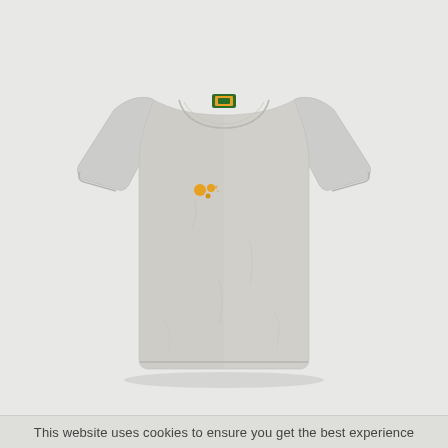[Figure (photo): A grey heather short-sleeve crew-neck t-shirt laid flat on a light grey background. The shirt has a small green and orange brand label at the back neckline and a small embroidered orange logo on the left chest area.]
This website uses cookies to ensure you get the best experience